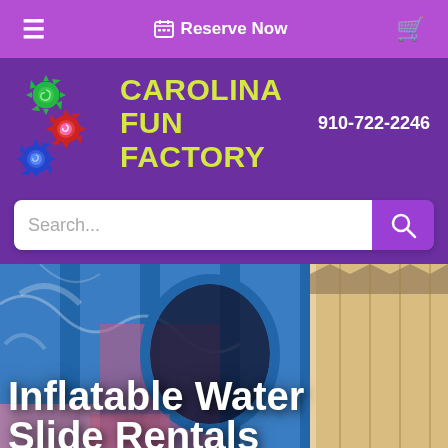≡  Reserve Now  🛒
[Figure (logo): Carolina Fun Factory logo with colorful gear icons (green, red, pink, blue) and yellow-green text reading CAROLINA FUN FACTORY on purple background]
910-722-2246
Search...
[Figure (photo): Blue and pink inflatable water slide close-up photo with additional inflatable visible in top right corner]
Inflatable Water Slide Rentals